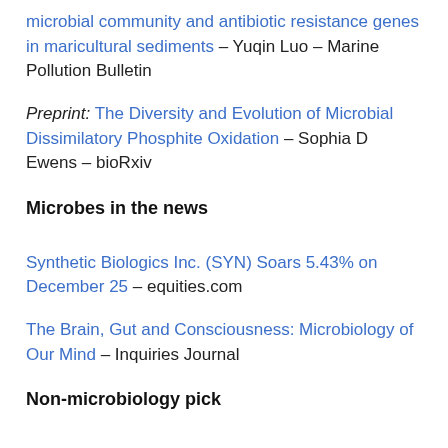microbial community and antibiotic resistance genes in maricultural sediments – Yuqin Luo – Marine Pollution Bulletin
Preprint: The Diversity and Evolution of Microbial Dissimilatory Phosphite Oxidation – Sophia D Ewens – bioRxiv
Microbes in the news
Synthetic Biologics Inc. (SYN) Soars 5.43% on December 25 – equities.com
The Brain, Gut and Consciousness: Microbiology of Our Mind – Inquiries Journal
Non-microbiology pick